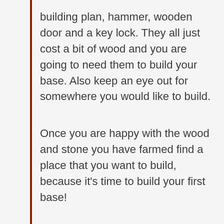building plan, hammer, wooden door and a key lock. They all just cost a bit of wood and you are going to need them to build your base. Also keep an eye out for somewhere you would like to build.
Once you are happy with the wood and stone you have farmed find a place that you want to build, because it's time to build your first base!
Open your inventory, if it's not already there move your building plan to the hot bar, if you hold right click it will bring up an